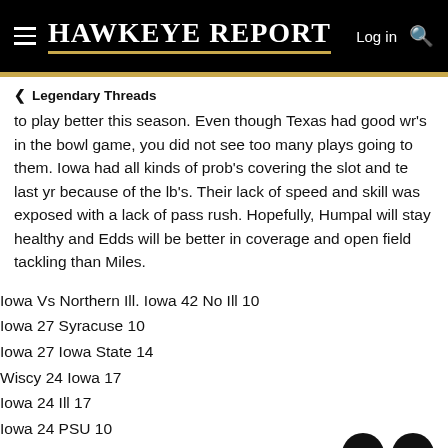HAWKEYE REPORT
to play better this season. Even though Texas had good wr's in the bowl game, you did not see too many plays going to them. Iowa had all kinds of prob's covering the slot and te last yr because of the lb's. Their lack of speed and skill was exposed with a lack of pass rush. Hopefully, Humpal will stay healthy and Edds will be better in coverage and open field tackling than Miles.
Iowa Vs Northern Ill. Iowa 42 No Ill 10
Iowa 27 Syracuse 10
Iowa 27 Iowa State 14
Wiscy 24 Iowa 17
Iowa 24 Ill 17
Iowa 24 PSU 10
Iowa 37 Indy 17
Iowa 42 NW 14